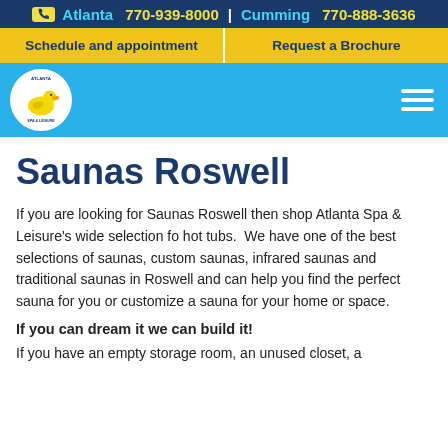Atlanta 770-939-8000 | Cumming 770-888-3636
Schedule and appointment
Request a Brochure
[Figure (logo): Atlanta Spa & Leisure logo with yellow rubber duck in a circle]
Saunas Roswell
If you are looking for Saunas Roswell then shop Atlanta Spa & Leisure's wide selection fo hot tubs.  We have one of the best selections of saunas, custom saunas, infrared saunas and traditional saunas in Roswell and can help you find the perfect sauna for you or customize a sauna for your home or space.
If you can dream it we can build it!
If you have an empty storage room, an unused closet, a